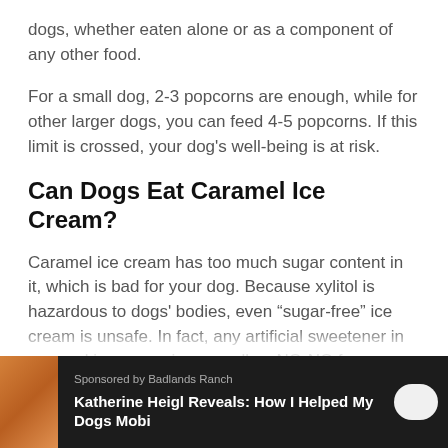dogs, whether eaten alone or as a component of any other food.
For a small dog, 2-3 popcorns are enough, while for other larger dogs, you can feed 4-5 popcorns. If this limit is crossed, your dog's well-being is at risk.
Can Dogs Eat Caramel Ice Cream?
Caramel ice cream has too much sugar content in it, which is bad for your dog. Because xylitol is hazardous to dogs' bodies, even “sugar-free” ice cream is unsafe. In fact, any artificial sweetener in caramel ice cream is generally a NO-NO for your
Sponsored by Badlands Ranch
Katherine Heigl Reveals: How I Helped My Dogs Mobi